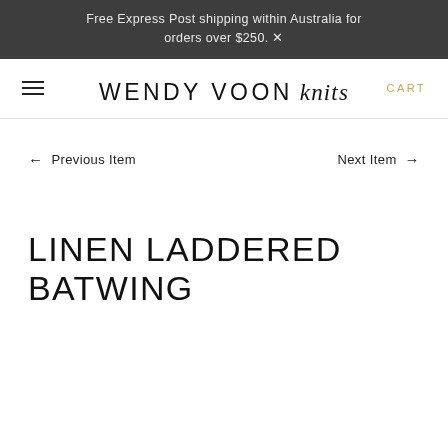Free Express Post shipping within Australia for orders over $250.
WENDY VOON knits CART
← Previous Item    Next Item →
LINEN LADDERED BATWING